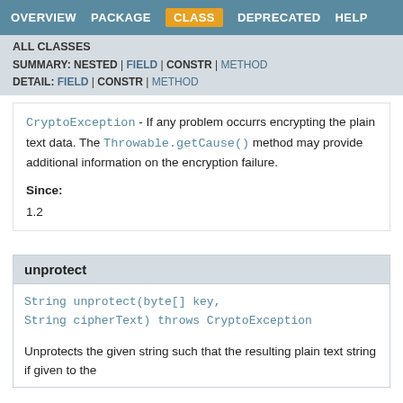OVERVIEW  PACKAGE  CLASS  DEPRECATED  HELP
ALL CLASSES
SUMMARY: NESTED | FIELD | CONSTR | METHOD
DETAIL: FIELD | CONSTR | METHOD
CryptoException - If any problem occurrs encrypting the plain text data. The Throwable.getCause() method may provide additional information on the encryption failure.
Since:
1.2
unprotect
String unprotect(byte[] key,
String cipherText) throws CryptoException
Unprotects the given string such that the resulting plain text string if given to the